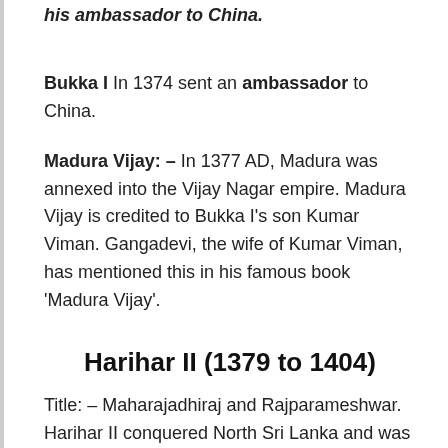his ambassador to China.
Bukka I In 1374 sent an ambassador to China.
Madura Vijay: – In 1377 AD, Madura was annexed into the Vijay Nagar empire. Madura Vijay is credited to Bukka I's son Kumar Viman. Gangadevi, the wife of Kumar Viman, has mentioned this in his famous book 'Madura Vijay'.
Harihar II (1379 to 1404)
Title: – Maharajadhiraj and Rajparameshwar. Harihar II conquered North Sri Lanka and was also successful. Its biggest success was the capture of Goa and Belgaum from the Bahmani